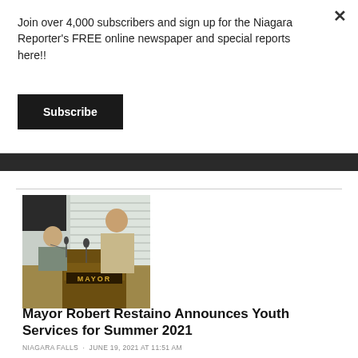Join over 4,000 subscribers and sign up for the Niagara Reporter's FREE online newspaper and special reports here!!
Subscribe
[Figure (photo): Mayor at podium with 'MAYOR' sign, two men at a conference table with microphones, vertical blinds in background]
Mayor Robert Restaino Announces Youth Services for Summer 2021
NIAGARA FALLS · JUNE 19, 2021 AT 11:51 AM